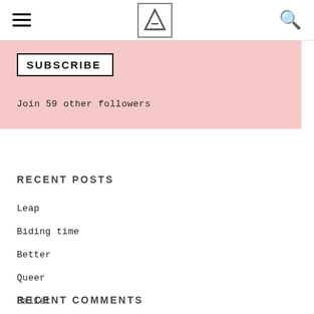☰ [logo] 🔍
SUBSCRIBE
Join 59 other followers
RECENT POSTS
Leap
Biding time
Better
Queer
Ballet
RECENT COMMENTS